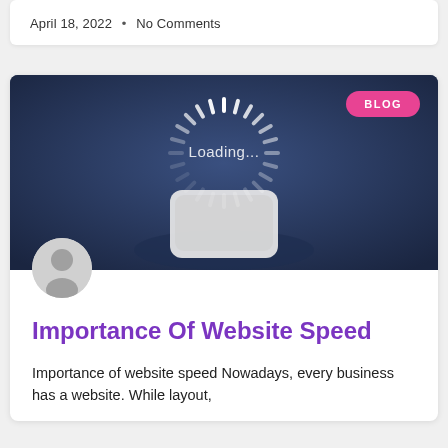April 18, 2022  •  No Comments
[Figure (photo): A hand holding a smartphone with a digital loading spinner and 'Loading...' text displayed as a holographic projection, with a dark blue background. A pink 'BLOG' badge in top right.]
Importance Of Website Speed
Importance of website speed Nowadays, every business has a website. While layout,